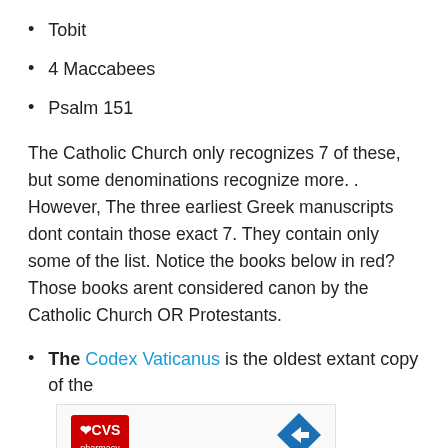Tobit
4 Maccabees
Psalm 151
The Catholic Church only recognizes 7 of these, but some denominations recognize more. . However, The three earliest Greek manuscripts dont contain those exact 7. They contain only some of the list. Notice the books below in red? Those books arent considered canon by the Catholic Church OR Protestants.
The Codex Vaticanus is the oldest extant copy of the
[Figure (other): Advertisement banner featuring CVS Pharmacy logo on the left and a blue navigation/direction arrow icon on the right, with play and close ad controls at the bottom left.]